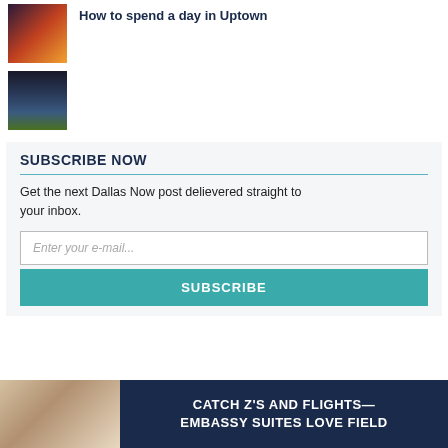[Figure (photo): Thumbnail photo of a crowd at a nighttime event in Uptown Dallas]
How to spend a day in Uptown
[Figure (photo): Thumbnail photo of the Margaret Hunt Hill Bridge at night in Dallas]
SUBSCRIBE NOW
Get the next Dallas Now post delievered straight to your inbox.
Enter your e-mail...
SUBSCRIBE
[Figure (photo): Embassy Suites Love Field advertisement banner showing hotel lobby and text: CATCH Z'S AND FLIGHTS— EMBASSY SUITES LOVE FIELD]